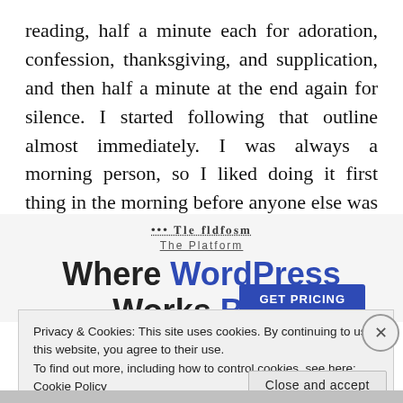reading, half a minute each for adoration, confession, thanksgiving, and supplication, and then half a minute at the end again for silence. I started following that outline almost immediately. I was always a morning person, so I liked doing it first thing in the morning before anyone else was awake.
[Figure (screenshot): Advertisement banner partially visible showing 'The Platform Where WordPress Works Best' with blue accent text and a blue 'GET PRICING' button]
Privacy & Cookies: This site uses cookies. By continuing to use this website, you agree to their use.
To find out more, including how to control cookies, see here: Cookie Policy
Close and accept